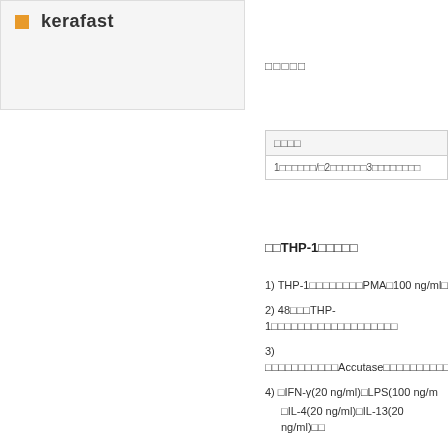[Figure (logo): Kerafast logo with orange square bullet and bold text 'kerafast' on gray background]
□□□□□
| □□□□ |
| --- |
| 1□□□□□□/□2□□□□□□3□□□□□□□□ |
□□THP-1□□□□□
1) THP-1□□□□□□□□PMA□100 ng/ml□
2) 48□□□THP-1□□□□□□□□□□□□□□□□□□□
3) □□□□□□□□□□□Accutase□□□□□□□□□□
4) □IFN-γ(20 ng/ml)□LPS(100 ng/m □IL-4(20 ng/ml)□IL-13(20 ng/ml)□□
5) □□□□□□□□□□□□□RPMI□□□□□72□